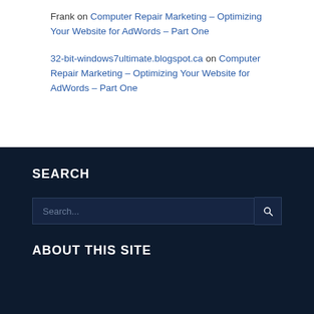Frank on Computer Repair Marketing – Optimizing Your Website for AdWords – Part One
32-bit-windows7ultimate.blogspot.ca on Computer Repair Marketing – Optimizing Your Website for AdWords – Part One
SEARCH
Search...
ABOUT THIS SITE